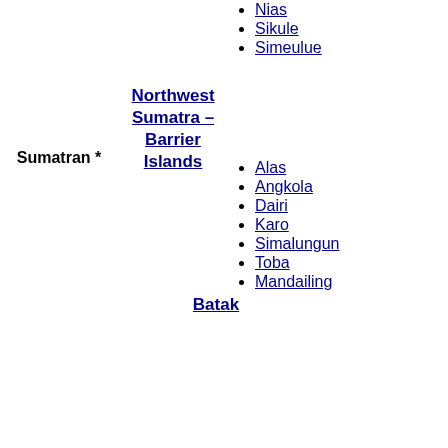Sumatran *
Northwest Sumatra–Barrier Islands
Nias
Sikule
Simeulue
Batak
Alas
Angkola
Dairi
Karo
Simalungun
Toba
Mandailing
Nasal ?
Lampungic
Lampung
Lampung Nyo
Lampung Api
Komering
Javanese
Javanese
Kawi / Old Javanese †
Banyumasan
Osing
Tenggerese
Madurese